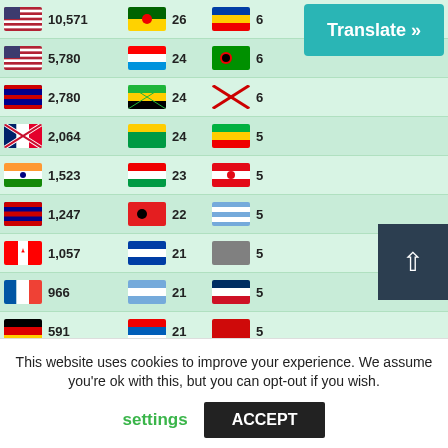| Flag | Count | Flag | Count | Flag | Count |
| --- | --- | --- | --- | --- | --- |
| US | 10,571 | ZW | 26 |  | 6 |
| US | 5,780 | HR | 24 |  | 6 |
| AU | 2,780 | TZ | 24 |  | 6 |
| GB | 2,064 | RW | 24 | SN | 5 |
| IN | 1,523 |  | 23 | TR | 5 |
| AU | 1,247 | AL | 22 | UY | 5 |
| CA | 1,057 | SI | 21 |  | 5 |
| FR | 966 | AR | 21 | DO | 5 |
| DE | 591 | RS | 21 | BY | 5 |
| MY | 458 |  | 21 |  | 5 |
| SG | 390 | BG | 21 |  | 5 |
| JP | 360 | IS | 20 | MD | 5 |
| NL | 348 | MM | 18 |  | 4 |
| HK | 285 | BH | 18 |  | 4 |
| KR | 271 | TT | 18 | VC | 4 |
| BD | 267 |  | 18 | ME | 4 |
| ZA | 252 | BO | 17 | ER | 4 |
| TH | 246 |  | 16 |  | 4 |
| IT | 234 | JM | 16 |  | 4 |
Translate »
This website uses cookies to improve your experience. We assume you're ok with this, but you can opt-out if you wish.
settings
ACCEPT